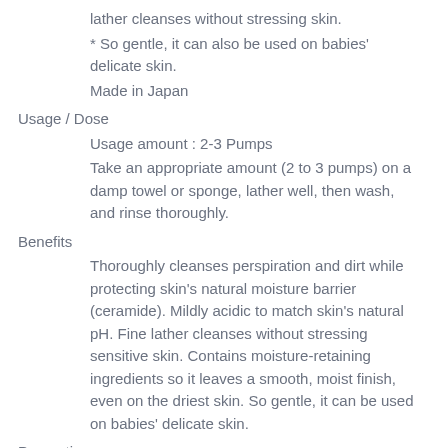lather cleanses without stressing skin.
* So gentle, it can also be used on babies' delicate skin.
Made in Japan
Usage / Dose
Usage amount : 2-3 Pumps
Take an appropriate amount (2 to 3 pumps) on a damp towel or sponge, lather well, then wash, and rinse thoroughly.
Benefits
Thoroughly cleanses perspiration and dirt while protecting skin's natural moisture barrier (ceramide). Mildly acidic to match skin's natural pH. Fine lather cleanses without stressing sensitive skin. Contains moisture-retaining ingredients so it leaves a smooth, moist finish, even on the driest skin. So gentle, it can be used on babies' delicate skin.
Precautions